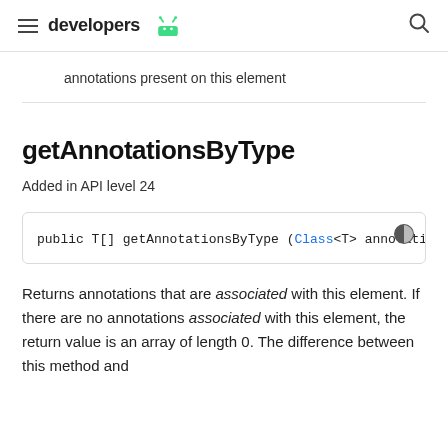developers [Android logo]
annotations present on this element
getAnnotationsByType
Added in API level 24
public T[] getAnnotationsByType (Class<T> annotation
Returns annotations that are associated with this element. If there are no annotations associated with this element, the return value is an array of length 0. The difference between this method and